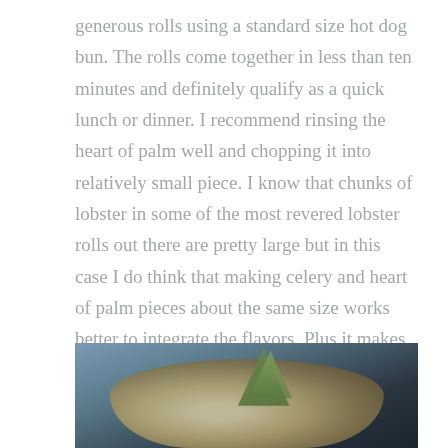generous rolls using a standard size hot dog bun. The rolls come together in less than ten minutes and definitely qualify as a quick lunch or dinner. I recommend rinsing the heart of palm well and chopping it into relatively small piece. I know that chunks of lobster in some of the most revered lobster rolls out there are pretty large but in this case I do think that making celery and heart of palm pieces about the same size works better to integrate the flavors. Plus it makes for more manageable bites. So, get a large mixing bowl out and lets make a much lighter, cheaper, safer and, lets face it, tastier and kinder lobster roll.
[Figure (photo): Photo of a lobster roll or similar food item with green garnish visible, on a blue-grey background]